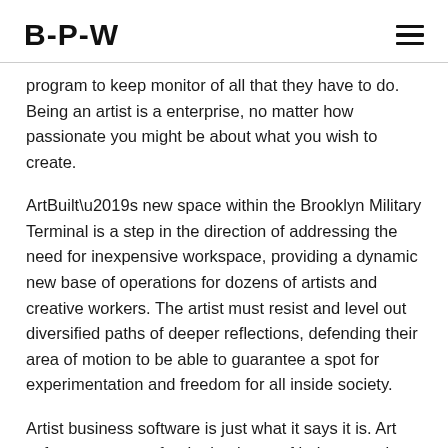B-P-W
program to keep monitor of all that they have to do. Being an artist is a enterprise, no matter how passionate you might be about what you wish to create.
ArtBuilt’s new space within the Brooklyn Military Terminal is a step in the direction of addressing the need for inexpensive workspace, providing a dynamic new base of operations for dozens of artists and creative workers. The artist must resist and level out diversified paths of deeper reflections, defending their area of motion to be able to guarantee a spot for experimentation and freedom for all inside society.
Artist business software is just what it says it is. Art software program for the business of being an artist.